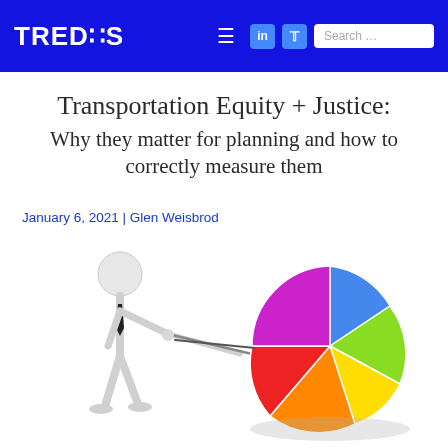TREDIS
Transportation Equity + Justice:
Why they matter for planning and how to correctly measure them
January 6, 2021 | Glen Weisbrod
[Figure (illustration): A 3D white stick figure character in a business tie pointing a stick at a colorful 3D pie chart with slices in blue, green, yellow, orange, red, and purple colors.]